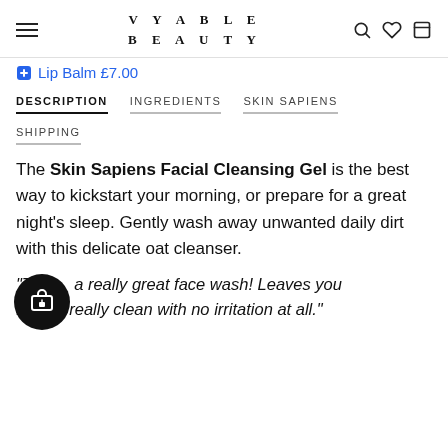VYABLE BEAUTY
Lip Balm £7.00
DESCRIPTION   INGREDIENTS   SKIN SAPIENS   SHIPPING
The Skin Sapiens Facial Cleansing Gel is the best way to kickstart your morning, or prepare for a great night's sleep. Gently wash away unwanted daily dirt with this delicate oat cleanser.
"This is a really great face wash! Leaves you feeling really clean with no irritation at all."